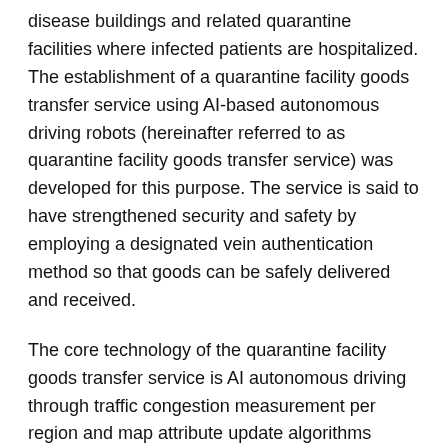disease buildings and related quarantine facilities where infected patients are hospitalized. The establishment of a quarantine facility goods transfer service using AI-based autonomous driving robots (hereinafter referred to as quarantine facility goods transfer service) was developed for this purpose. The service is said to have strengthened security and safety by employing a designated vein authentication method so that goods can be safely delivered and received.
The core technology of the quarantine facility goods transfer service is AI autonomous driving through traffic congestion measurement per region and map attribute update algorithms based on cumulative driving information. “Injectable drugs such as narcotics and anticancer drugs etc, and linen laundry that are handled in medical institutions are delivered directly by robots, not humans,” said CEO of Sea Infotech Co., Ltd. who introduced the service. “It is a control